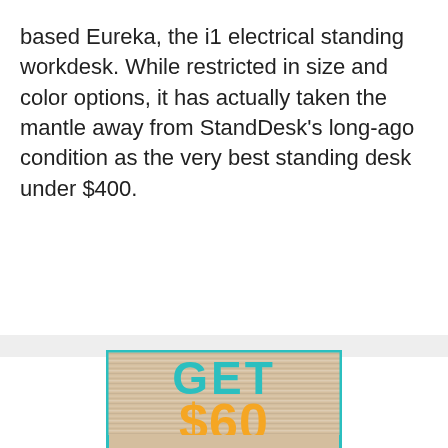based Eureka, the i1 electrical standing workdesk. While restricted in size and color options, it has actually taken the mantle away from StandDesk's long-ago condition as the very best standing desk under $400.
[Figure (infographic): Coupon advertisement on a wood-textured background with teal border. Text reads: GET $60 OFF with 'Purchases' partially visible at bottom.]